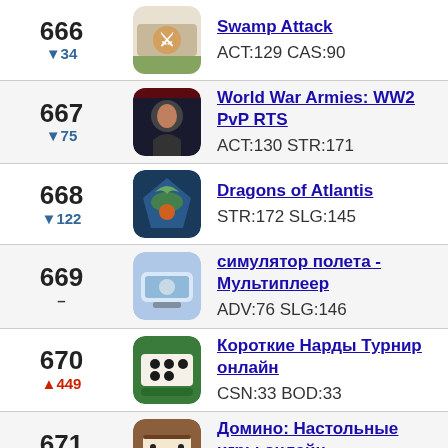666 ▼34 | Swamp Attack | ACT:129 CAS:90
667 ▼75 | World War Armies: WW2 PvP RTS | ACT:130 STR:171
668 ▼122 | Dragons of Atlantis | STR:172 SLG:145
669 – | симулятор полета - Мультиплеер | ADV:76 SLG:146
670 ▲449 | Короткие Нарды Турнир онлайн | CSN:33 BOD:33
671 ▲54 | Домино: Настольные игры онлайн | FAM:36 BOD:34
672 ▼110 | [cookie notice overlay] | FAM:37 SLG:147
673 | Зомби Ферма